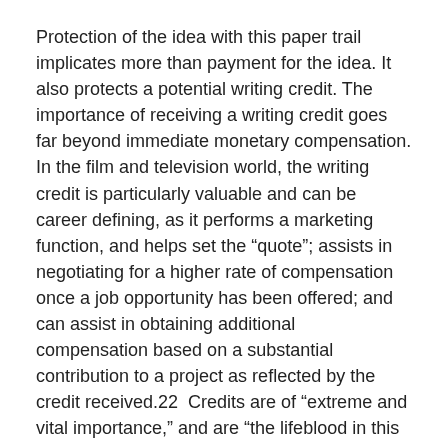Protection of the idea with this paper trail implicates more than payment for the idea. It also protects a potential writing credit. The importance of receiving a writing credit goes far beyond immediate monetary compensation. In the film and television world, the writing credit is particularly valuable and can be career defining, as it performs a marketing function, and helps set the “quote”; assists in negotiating for a higher rate of compensation once a job opportunity has been offered; and can assist in obtaining additional compensation based on a substantial contribution to a project as reflected by the credit received.22  Credits are of “extreme and vital importance,” and are “the lifeblood in this industry.”23
Receiving Submission—Best Practices
The recipient of ideas should also be concerned